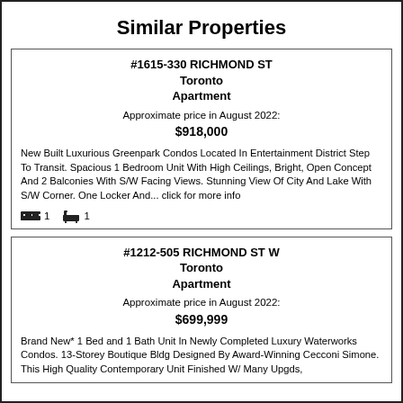Similar Properties
#1615-330 RICHMOND ST
Toronto
Apartment
Approximate price in August 2022:
$918,000
New Built Luxurious Greenpark Condos Located In Entertainment District Step To Transit. Spacious 1 Bedroom Unit With High Ceilings, Bright, Open Concept And 2 Balconies With S/W Facing Views. Stunning View Of City And Lake With S/W Corner. One Locker And... click for more info
1 bed  1 bath
#1212-505 RICHMOND ST W
Toronto
Apartment
Approximate price in August 2022:
$699,999
Brand New* 1 Bed and 1 Bath Unit In Newly Completed Luxury Waterworks Condos. 13-Storey Boutique Bldg Designed By Award-Winning Cecconi Simone. This High Quality Contemporary Unit Finished W/ Many Upgds,